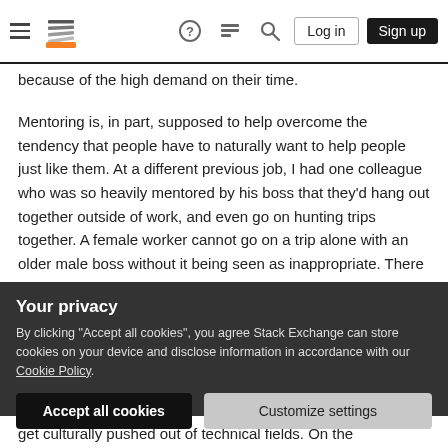Stack Exchange navigation bar with hamburger menu, logo, help, chat, search icons, Log in and Sign up buttons
because of the high demand on their time.
Mentoring is, in part, supposed to help overcome the tendency that people have to naturally want to help people just like them. At a different previous job, I had one colleague who was so heavily mentored by his boss that they'd hang out together outside of work, and even go on hunting trips together. A female worker cannot go on a trip alone with an older male boss without it being seen as inappropriate. There are so few women in tech, they need help to find these sorts of relationships. Men are spoiled by the
Your privacy
By clicking "Accept all cookies", you agree Stack Exchange can store cookies on your device and disclose information in accordance with our Cookie Policy.
Accept all cookies
Customize settings
get culturally pushed out of technical fields. On the